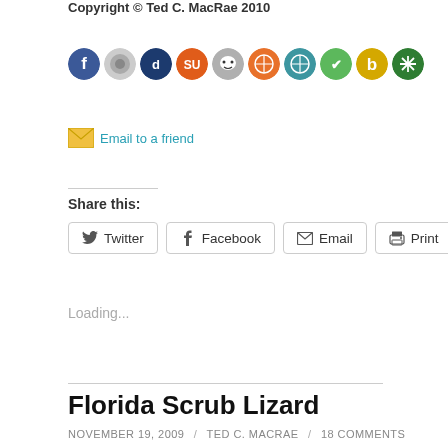Copyright © Ted C. MacRae 2010
[Figure (illustration): Row of 10 colorful social media sharing icon buttons (circular icons including Facebook, Digg, StumbleUpon, Reddit, and others)]
Email to a friend
Share this:
Twitter  Facebook  Email  Print
Loading...
Florida Scrub Lizard
NOVEMBER 19, 2009 / TED C. MACRAE / 18 COMMENTS